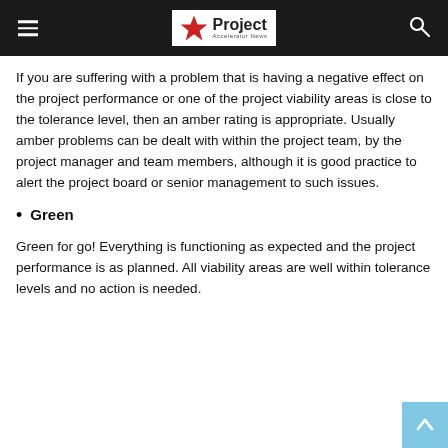Project Accelerator News
If you are suffering with a problem that is having a negative effect on the project performance or one of the project viability areas is close to the tolerance level, then an amber rating is appropriate. Usually amber problems can be dealt with within the project team, by the project manager and team members, although it is good practice to alert the project board or senior management to such issues.
Green
Green for go! Everything is functioning as expected and the project performance is as planned. All viability areas are well within tolerance levels and no action is needed.